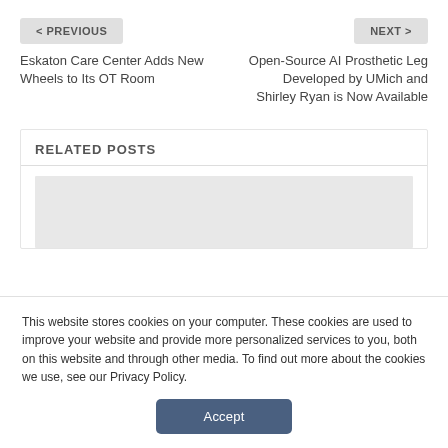< PREVIOUS
NEXT >
Eskaton Care Center Adds New Wheels to Its OT Room
Open-Source AI Prosthetic Leg Developed by UMich and Shirley Ryan is Now Available
RELATED POSTS
[Figure (photo): Placeholder image area for related post thumbnail]
This website stores cookies on your computer. These cookies are used to improve your website and provide more personalized services to you, both on this website and through other media. To find out more about the cookies we use, see our Privacy Policy.
Accept